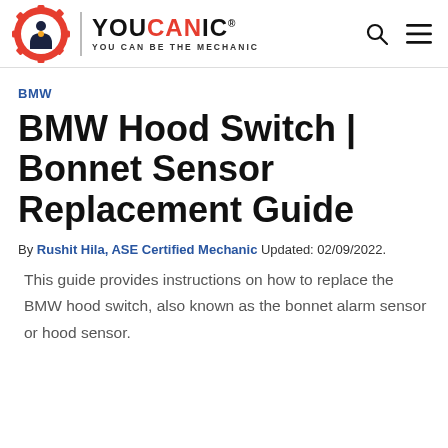[Figure (logo): YOUCANIC logo with gear and wrench icon, text 'YOU CAN BE THE MECHANIC']
BMW
BMW Hood Switch | Bonnet Sensor Replacement Guide
By Rushit Hila, ASE Certified Mechanic Updated: 02/09/2022.
This guide provides instructions on how to replace the BMW hood switch, also known as the bonnet alarm sensor or hood sensor.